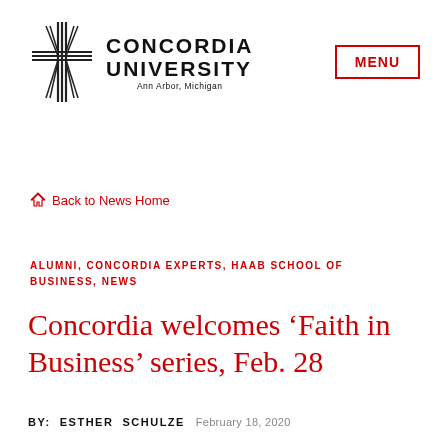[Figure (logo): Concordia University Ann Arbor, Michigan logo with cross symbol and university name]
MENU
Back to News Home
ALUMNI, CONCORDIA EXPERTS, HAAB SCHOOL OF BUSINESS, NEWS
Concordia welcomes ‘Faith in Business’ series, Feb. 28
BY: ESTHER SCHULZE February 18, 2020